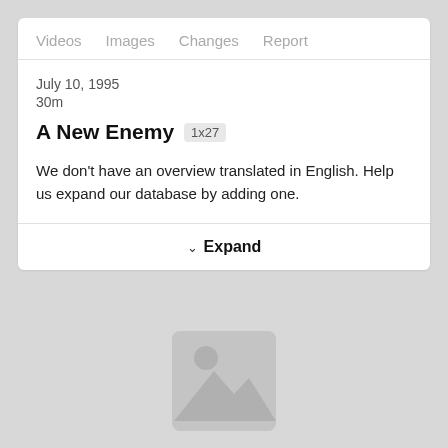Videos  Images  Changes  Report
July 10, 1995
30m
A New Enemy  1x27
We don't have an overview translated in English. Help us expand our database by adding one.
Expand
[Figure (photo): Image placeholder with a generic image icon (mountain/landscape with circle) on a light grey background]